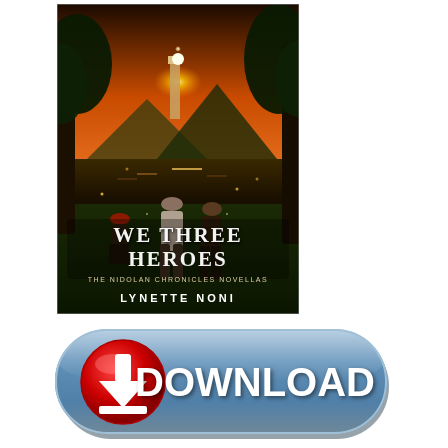[Figure (illustration): Book cover for 'We Three Heroes: The Nidolan Chronicles Novellas' by Lynette Noni. Shows three young people standing with their backs to the viewer looking toward a glowing lighthouse across a misty lake at sunset. Trees frame both sides. Title text 'WE THREE HEROES' in large white decorative font, subtitle 'THE NIDOLAN CHRONICLES NOVELLAS' in smaller text, and author name 'LYNETTE NONI' at the bottom.]
[Figure (illustration): Large blue rounded-rectangle download button with a red circular icon containing a white downward arrow on the left, and the word 'DOWNLOAD' in large bold white text on the right.]